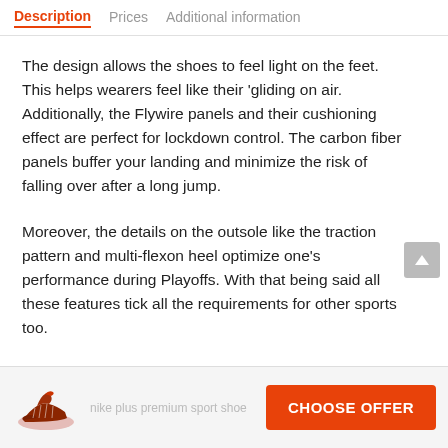Description | Prices | Additional information
The design allows the shoes to feel light on the feet. This helps wearers feel like their ‘gliding on air. Additionally, the Flywire panels and their cushioning effect are perfect for lockdown control. The carbon fiber panels buffer your landing and minimize the risk of falling over after a long jump.
Moreover, the details on the outsole like the traction pattern and multi-flexon heel optimize one’s performance during Playoffs. With that being said all these features tick all the requirements for other sports too.
CHOOSE OFFER